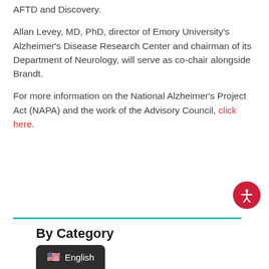AFTD and Discovery.
Allan Levey, MD, PhD, director of Emory University's Alzheimer's Disease Research Center and chairman of its Department of Neurology, will serve as co-chair alongside Brandt.
For more information on the National Alzheimer's Project Act (NAPA) and the work of the Advisory Council, click here.
By Category
News
Conferences
COVID-19 and FTD
…ews